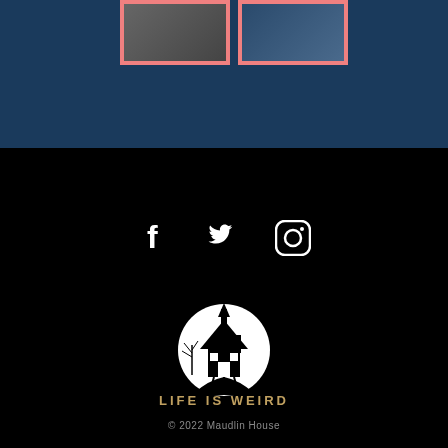[Figure (photo): Two image cards with salmon/pink borders on dark blue background. Left card shows a person, right card shows a dark scene.]
[Figure (logo): Social media icons: Facebook (f), Twitter (bird), Instagram (camera in circle) in white on black background]
[Figure (logo): Maudlin House logo: black and white circular emblem showing a spooky house with bare trees against a moon]
LIFE IS WEIRD
© 2022 Maudlin House